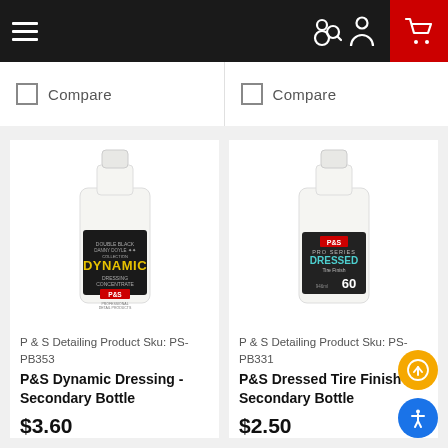Navigation bar with hamburger menu, search, user, and cart icons
Compare
Compare
[Figure (photo): White spray bottle with black label reading DOUBLE BLACK DANNY DOYLE COLLECTION - DYNAMIC DRESSING CONCENTRATE, P&S Professional Detail Products]
P & S Detailing Product Sku: PS-PB353
P&S Dynamic Dressing - Secondary Bottle
$3.60
[Figure (photo): White spray bottle with dark label reading P&S PRO SERIES DRESSED Tire Finish, 60]
P & S Detailing Product Sku: PS-PB331
P&S Dressed Tire Finish - Secondary Bottle
$2.50